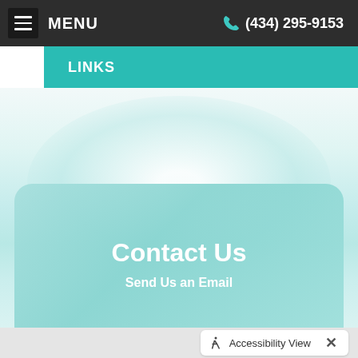MENU  (434) 295-9153
LINKS
Contact Us
Send Us an Email
Accessibility View ×